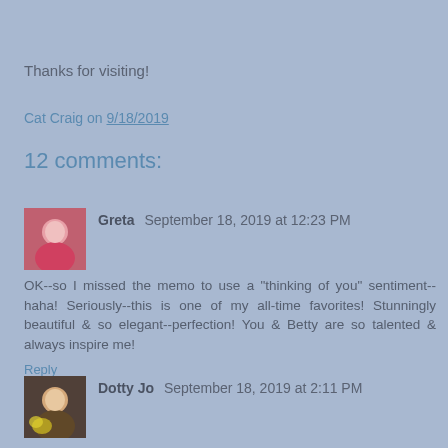Thanks for visiting!
Cat Craig on 9/18/2019
12 comments:
[Figure (photo): Avatar photo of Greta, a woman in a pink top]
Greta  September 18, 2019 at 12:23 PM
OK--so I missed the memo to use a "thinking of you" sentiment--haha! Seriously--this is one of my all-time favorites! Stunningly beautiful & so elegant--perfection! You & Betty are so talented & always inspire me!
Reply
[Figure (photo): Avatar photo of Dotty Jo, a woman with flowers]
Dotty Jo  September 18, 2019 at 2:11 PM
Gorgeous card, Jo x